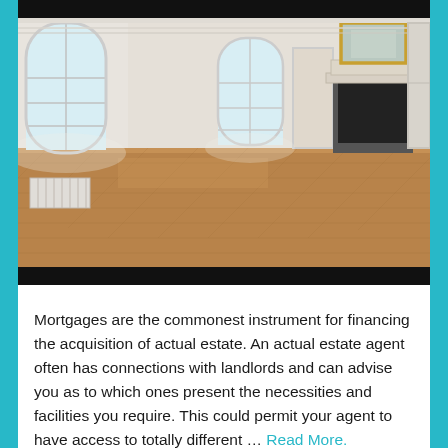[Figure (photo): Interior photograph of a large empty classic Parisian-style room with tall arched windows, herringbone parquet wood flooring, white walls with ornate moldings, a fireplace with a gilded mirror above it, and a radiator on the left wall.]
Mortgages are the commonest instrument for financing the acquisition of actual estate. An actual estate agent often has connections with landlords and can advise you as to which ones present the necessities and facilities you require. This could permit your agent to have access to totally different … Read More.